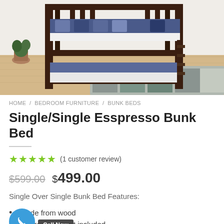[Figure (photo): Photo of a dark espresso wood bunk bed with blue patterned bedding, placed on light wood flooring with a patterned rug and plant in the background.]
HOME / BEDROOM FURNITURE / BUNK BEDS
Single/Single Esspresso Bunk Bed
★★★★★ (1 customer review)
$599.00  $499.00
Single Over Single Bunk Bed Features:
made from wood
mattress support included